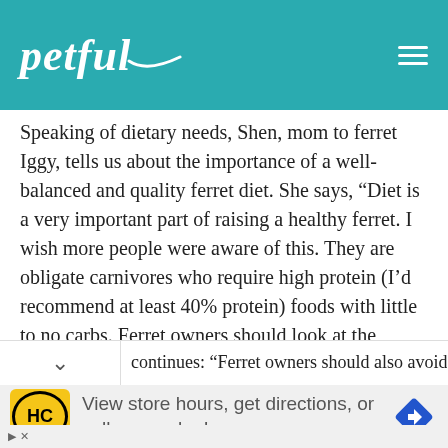petful
Speaking of dietary needs, Shen, mom to ferret Iggy, tells us about the importance of a well-balanced and quality ferret diet. She says, “Diet is a very important part of raising a healthy ferret. I wish more people were aware of this. They are obligate carnivores who require high protein (I’d recommend at least 40% protein) foods with little to no carbs. Ferret owners should look at the ingredients on their ferret’s food. The first several ingredients should be meat based.”
continues: “Ferret owners should also avoid
[Figure (infographic): Advertisement banner: HC logo (yellow circle with HC text), text 'View store hours, get directions, or call your salon!', blue navigation arrow icon on right]